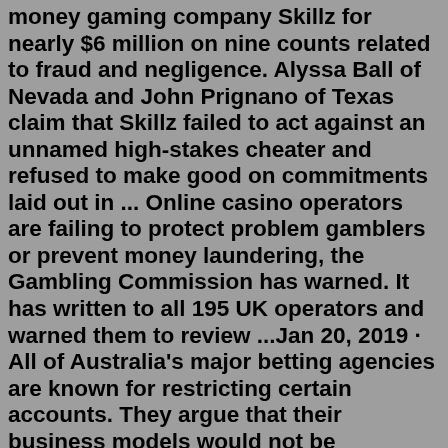money gaming company Skillz for nearly $6 million on nine counts related to fraud and negligence. Alyssa Ball of Nevada and John Prignano of Texas claim that Skillz failed to act against an unnamed high-stakes cheater and refused to make good on commitments laid out in ... Online casino operators are failing to protect problem gamblers or prevent money laundering, the Gambling Commission has warned. It has written to all 195 UK operators and warned them to review ...Jan 20, 2019 · All of Australia's major betting agencies are known for restricting certain accounts. They argue that their business models would not be sustainable if they allowed people to win too much. Mr ... low wagering casino bonus, paramount poker, when will grand casino mille lacs reopen, electronic roulette atlantic city, online gambling in south africa, 4 aces poker shop, casino midleton cork, i just cant stop gambling However, should more expensive approaches be required to reach the abatement goal, the cost could be as high as 1,100 billion euros. 1,. Problem gambling is when